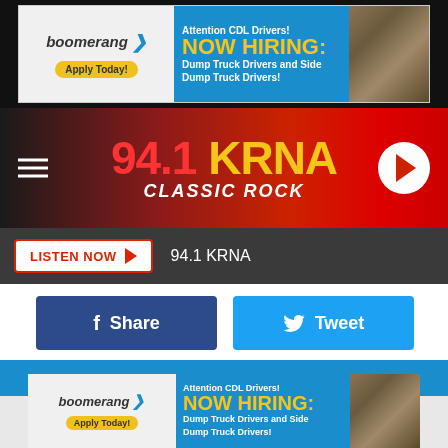[Figure (screenshot): Boomerang hiring advertisement banner: NOW HIRING Dump Truck Drivers and Side Dump Truck Drivers]
[Figure (logo): 94.1 KRNA Classic Rock radio station header with hamburger menu and play button]
[Figure (screenshot): LISTEN NOW button with 94.1 KRNA text on dark bar]
[Figure (screenshot): Facebook Share and Twitter Tweet social sharing buttons]
City of Cedar Rapids
The $9.8 million dollar project will be a 4-story building with multiple uses, 25 surface parking spaces, storefronts, along with covered parking on the first floor according to Corridor Business.
[Figure (screenshot): Boomerang hiring advertisement banner at bottom: NOW HIRING Dump Truck Drivers and Side Dump Truck Drivers]